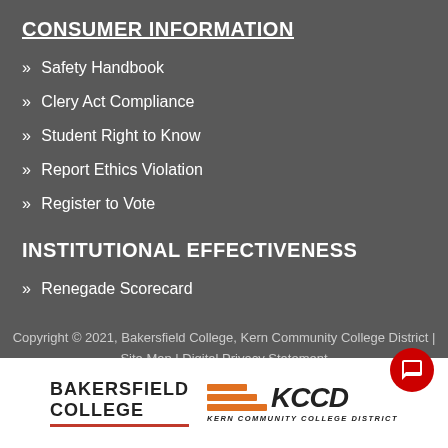CONSUMER INFORMATION
» Safety Handbook
» Clery Act Compliance
» Student Right to Know
» Report Ethics Violation
» Register to Vote
INSTITUTIONAL EFFECTIVENESS
» Renegade Scorecard
Copyright © 2021, Bakersfield College, Kern Community College District | Site Map | Digital Privacy Statement
[Figure (logo): Bakersfield College and KCCD (Kern Community College District) logos side by side on a white bar at the bottom of the page, with a red chat button overlay in the bottom right corner.]